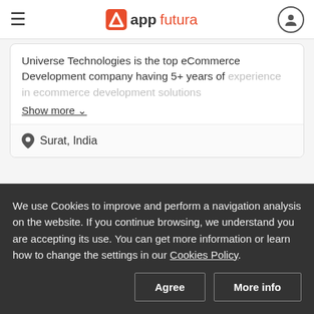appfutura
Universe Technologies is the top eCommerce Development company having 5+ years of experience in ecommerce development solutions
Show more
Surat, India
LB Tech Hub IT
We use Cookies to improve and perform a navigation analysis on the website. If you continue browsing, we understand you are accepting its use. You can get more information or learn how to change the settings in our Cookies Policy.